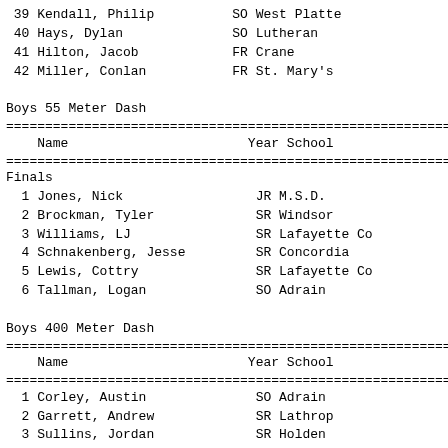39 Kendall, Philip        SO West Platte
40 Hays, Dylan            SO Lutheran
41 Hilton, Jacob          FR Crane
42 Miller, Conlan         FR St. Mary's
Boys 55 Meter Dash
| Name | Year | School | Pre |
| --- | --- | --- | --- |
| Jones, Nick | JR | M.S.D. |  |
| Brockman, Tyler | SR | Windsor |  |
| Williams, LJ | SR | Lafayette Co |  |
| Schnakenberg, Jesse | SR | Concordia |  |
| Lewis, Cottry | SR | Lafayette Co |  |
| Tallman, Logan | SO | Adrain |  |
Boys 400 Meter Dash
| Name | Year | School |  |
| --- | --- | --- | --- |
| Corley, Austin | SO | Adrain | 5 |
| Garrett, Andrew | SR | Lathrop | 5 |
| Sullins, Jordan | SR | Holden | 5 |
| Kane, Brennan | JR | Lutheran |  |
| Crockett, Isaac | JR | Marionville | 5 |
| Bestgen, Austin | JR | Crest Ridge | 5 |
| Salmons, Conner | SO | West Platte | 5 |
| Koehn, Chris | SR | Lathrop | 5 |
| Willard, Justin | SR | W-N | 5 |